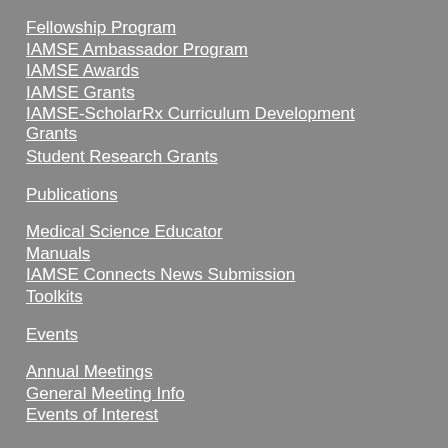Fellowship Program
IAMSE Ambassador Program
IAMSE Awards
IAMSE Grants
IAMSE-ScholarRx Curriculum Development Grants
Student Research Grants
Publications
Medical Science Educator
Manuals
IAMSE Connects News Submission
Toolkits
Events
Annual Meetings
General Meeting Info
Events of Interest